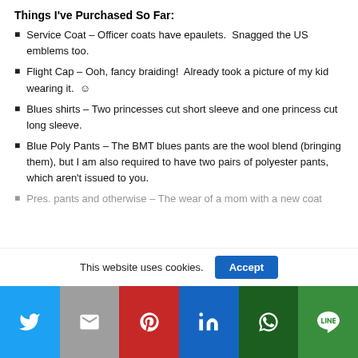Things I've Purchased So Far:
Service Coat – Officer coats have epaulets.  Snagged the US emblems too.
Flight Cap – Ooh, fancy braiding!  Already took a picture of my kid wearing it.  ☺
Blues shirts – Two princesses cut short sleeve and one princess cut long sleeve.
Blue Poly Pants – The BMT blues pants are the wool blend (bringing them), but I am also required to have two pairs of polyester pants, which aren't issued to you.
Pres. pants and otherwise – The wear of a mom with a new coat
This website uses cookies.
Accept